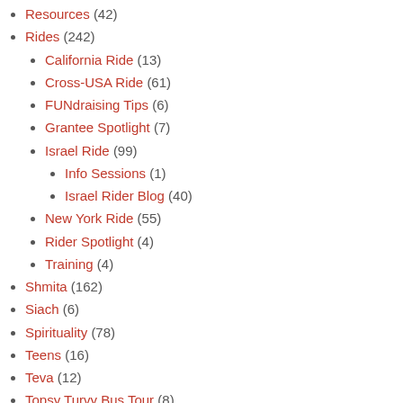Resources (42)
Rides (242)
California Ride (13)
Cross-USA Ride (61)
FUNdraising Tips (6)
Grantee Spotlight (7)
Israel Ride (99)
Info Sessions (1)
Israel Rider Blog (40)
New York Ride (55)
Rider Spotlight (4)
Training (4)
Shmita (162)
Siach (6)
Spirituality (78)
Teens (16)
Teva (12)
Topsy Turvy Bus Tour (8)
Tzedek/Justice (46)
Uncategorized (13)
Video (32)